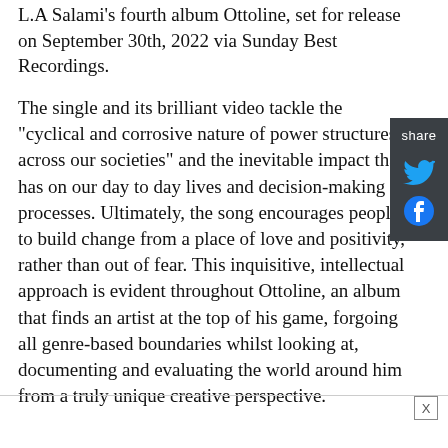L.A Salami's fourth album Ottoline, set for release on September 30th, 2022 via Sunday Best Recordings.
The single and its brilliant video tackle the "cyclical and corrosive nature of power structures across our societies" and the inevitable impact that has on our day to day lives and decision-making processes. Ultimately, the song encourages people to build change from a place of love and positivity, rather than out of fear. This inquisitive, intellectual approach is evident throughout Ottoline, an album that finds an artist at the top of his game, forgoing all genre-based boundaries whilst looking at, documenting and evaluating the world around him from a truly unique creative perspective.